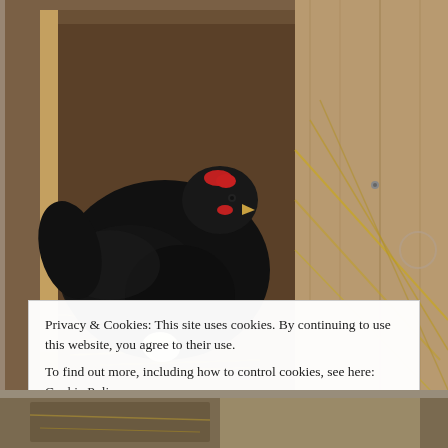[Figure (photo): A black hen sitting in a wooden nesting box lined with straw, with an egg visible beneath her. The wooden box has simple plank construction. A second partial photo strip is visible at the very bottom of the page.]
Privacy & Cookies: This site uses cookies. By continuing to use this website, you agree to their use.
To find out more, including how to control cookies, see here: Cookie Policy
Close and accept